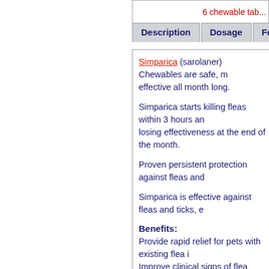6 chewable tab...
| Description | Dosage | Feedback |
| --- | --- | --- |
Simparica (sarolaner) Chewables are safe, mo... effective all month long.
Simparica starts killing fleas within 3 hours an... losing effectiveness at the end of the month.
Proven persistent protection against fleas and...
Simparica is effective against fleas and ticks, e...
Benefits:
Provide rapid relief for pets with existing flea i...
Improve clinical signs of flea allergies in dogs...
Prevent and control home flea infestations, ki...
Quickly kill ticks, which may help reduce the ri...
Uses
For the treatment of flea infestations (Ctenoce... immediate and persistent flea killing activity ag... part of a treatment strategy for the control of F... (Dermacentor reticulatus, Ixodes hexagonus,... and persistent tick killing activity for at least...